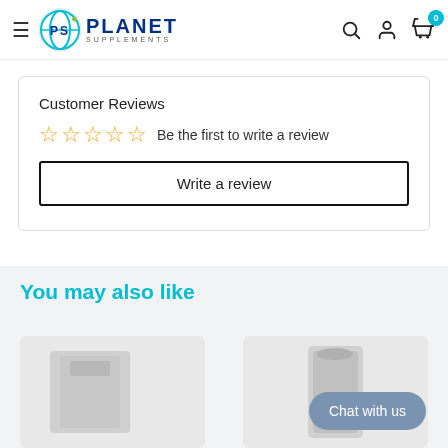Planet Supplements — navigation header with hamburger menu, logo, search, user and cart icons (cart badge: 0)
Customer Reviews
☆☆☆☆☆  Be the first to write a review
Write a review
You may also like
[Figure (photo): Product image placeholder left]
[Figure (photo): Product image placeholder right]
Chat with us